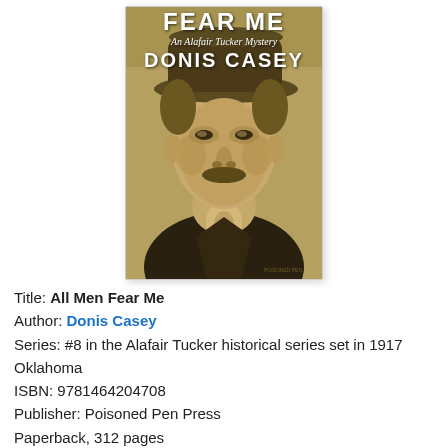[Figure (illustration): Book cover of 'All Men Fear Me' by Donis Casey. Shows a sepia-toned vintage portrait of a man with a mustache wearing a hat and dark jacket with a loose cravat. Title text at top reads 'FEAR ME' (partial, top cropped), subtitle 'An Alafair Tucker Mystery', and author name 'DONIS CASEY' in large white bold letters.]
Title: All Men Fear Me
Author: Donis Casey
Series: #8 in the Alafair Tucker historical series set in 1917 Oklahoma
ISBN: 9781464204708
Publisher: Poisoned Pen Press
Paperback, 312 pages